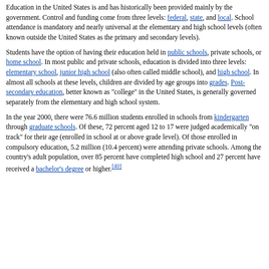Education in the United States is and has historically been provided mainly by the government. Control and funding come from three levels: federal, state, and local. School attendance is mandatory and nearly universal at the elementary and high school levels (often known outside the United States as the primary and secondary levels).
Students have the option of having their education held in public schools, private schools, or home school. In most public and private schools, education is divided into three levels: elementary school, junior high school (also often called middle school), and high school. In almost all schools at these levels, children are divided by age groups into grades. Post-secondary education, better known as "college" in the United States, is generally governed separately from the elementary and high school system.
In the year 2000, there were 76.6 million students enrolled in schools from kindergarten through graduate schools. Of these, 72 percent aged 12 to 17 were judged academically "on track" for their age (enrolled in school at or above grade level). Of those enrolled in compulsory education, 5.2 million (10.4 percent) were attending private schools. Among the country's adult population, over 85 percent have completed high school and 27 percent have received a bachelor's degree or higher.[40]